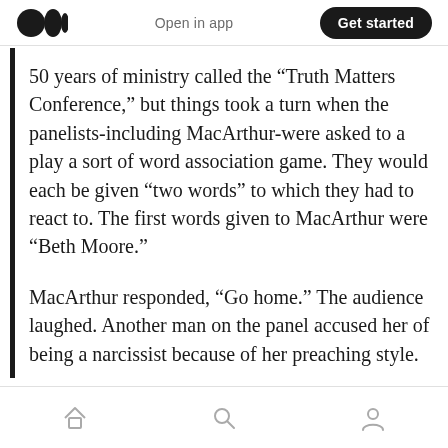Medium logo | Open in app | Get started
50 years of ministry called the “Truth Matters Conference,” but things took a turn when the panelists-including MacArthur-were asked to a play a sort of word association game. They would each be given “two words” to which they had to react to. The first words given to MacArthur were “Beth Moore.”
MacArthur responded, “Go home.” The audience laughed. Another man on the panel accused her of being a narcissist because of her preaching style.
Home | Search | Profile